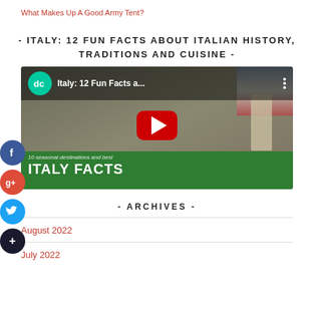What Makes Up A Good Army Tent?
- ITALY: 12 FUN FACTS ABOUT ITALIAN HISTORY, TRADITIONS AND CUISINE -
[Figure (screenshot): YouTube video thumbnail for 'Italy: 12 Fun Facts a...' with dc channel logo, red play button, and green ITALY FACTS banner at bottom]
- ARCHIVES -
August 2022
July 2022